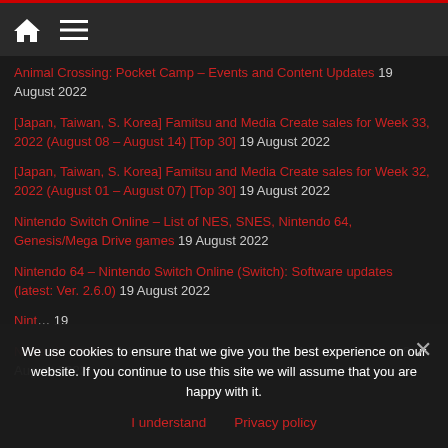Home / Menu navigation bar
Animal Crossing: Pocket Camp – Events and Content Updates 19 August 2022
[Japan, Taiwan, S. Korea] Famitsu and Media Create sales for Week 33, 2022 (August 08 – August 14) [Top 30] 19 August 2022
[Japan, Taiwan, S. Korea] Famitsu and Media Create sales for Week 32, 2022 (August 01 – August 07) [Top 30] 19 August 2022
Nintendo Switch Online – List of NES, SNES, Nintendo 64, Genesis/Mega Drive games 19 August 2022
Nintendo 64 – Nintendo Switch Online (Switch): Software updates (latest: Ver. 2.6.0) 19 August 2022
Nintendo Switch (list of updates, latest news, etc.) 19 August 2022
Nintendo Switch (list of updates, patches, DLCs, demos, etc.) 18 August 2022
We use cookies to ensure that we give you the best experience on our website. If you continue to use this site we will assume that you are happy with it.
I understand   Privacy policy